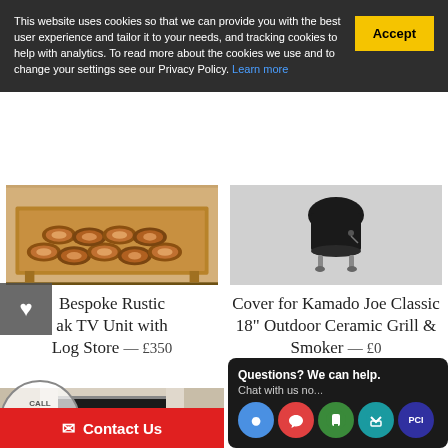This website uses cookies so that we can provide you with the best user experience and tailor it to your needs, and tracking cookies to help with analytics. To read more about the cookies we use and to change your settings see our Privacy Policy. Learn more
[Figure (photo): Bespoke rustic oak TV unit with log store - wood logs stacked in oak cabinet]
[Figure (photo): Black cover for Kamado Joe Classic 18 inch outdoor ceramic grill and smoker]
Bespoke Rustic ak TV Unit with Log Store — £350
Cover for Kamado Joe Classic 18" Outdoor Ceramic Grill & Smoker — £0
[Figure (photo): Marble fireplace surround with dark insert]
CALL SHOP FOR PRICE
Contact Us
Questions? We can help. Chat with us no...